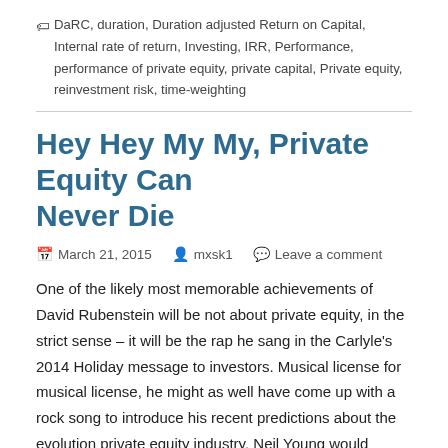🏷 DaRC, duration, Duration adjusted Return on Capital, Internal rate of return, Investing, IRR, Performance, performance of private equity, private capital, Private equity, reinvestment risk, time-weighting
Hey Hey My My, Private Equity Can Never Die
March 21, 2015   mxsk1   Leave a comment
One of the likely most memorable achievements of David Rubenstein will be not about private equity, in the strict sense – it will be the rap he sang in the Carlyle's 2014 Holiday message to investors. Musical license for musical license, he might as well have come up with a rock song to introduce his recent predictions about the evolution private equity industry. Neil Young would forgive that it is me instead to "use" the song for a